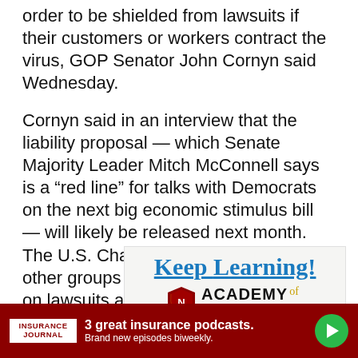order to be shielded from lawsuits if their customers or workers contract the virus, GOP Senator John Cornyn said Wednesday.
Cornyn said in an interview that the liability proposal — which Senate Majority Leader Mitch McConnell says is a “red line” for talks with Democrats on the next big economic stimulus bill — will likely be released next month. The U.S. Chamber of Commerce and other groups are pushing hard for curbs on lawsuits as the nation emerges from lockdowns that have paralyzed the economy.
[Figure (illustration): Advertisement for Academy of Insurance featuring 'Keep Learning!' text in blue cursive with underline, a red shield logo, and 'ACADEMY of INSURANCE' text in bold.]
[Figure (infographic): Insurance Journal footer banner advertisement: red background with white Insurance Journal logo, text '3 great insurance podcasts. Brand new episodes biweekly.' and a green play button.]